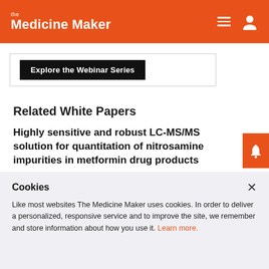the Medicine Maker
[Figure (screenshot): Explore the Webinar Series button inside a bordered box]
Related White Papers
Highly sensitive and robust LC-MS/MS solution for quantitation of nitrosamine impurities in metformin drug products
08/25/2021 | Contributed by Thermo Fisher Scientific
Cookies
Like most websites The Medicine Maker uses cookies. In order to deliver a personalized, responsive service and to improve the site, we remember and store information about how you use it. Learn more.